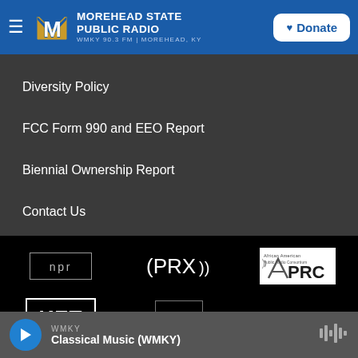Morehead State Public Radio — WMKY 90.3 FM | Morehead, KY
Diversity Policy
FCC Form 990 and EEO Report
Biennial Ownership Report
Contact Us
[Figure (logo): Partner logos: NPR, PRX, APRC (African American Public Radio Consortium), KET, cpb]
WMKY — Classical Music (WMKY)